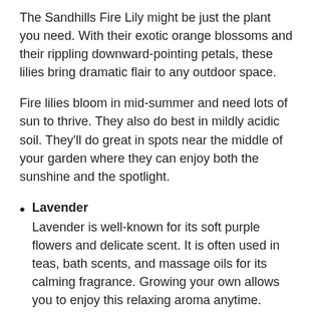The Sandhills Fire Lily might be just the plant you need. With their exotic orange blossoms and their rippling downward-pointing petals, these lilies bring dramatic flair to any outdoor space.
Fire lilies bloom in mid-summer and need lots of sun to thrive. They also do best in mildly acidic soil. They'll do great in spots near the middle of your garden where they can enjoy both the sunshine and the spotlight.
Lavender
Lavender is well-known for its soft purple flowers and delicate scent. It is often used in teas, bath scents, and massage oils for its calming fragrance. Growing your own allows you to enjoy this relaxing aroma anytime.
This plant is hardy and can survive in most